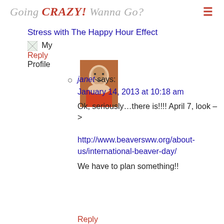Going CRAZY! Wanna Go?
Stress with The Happy Hour Effect
My
Reply
Profile
[Figure (photo): Profile photo of janet - woman in orange shirt]
janet says:
January 14, 2013 at 10:18 am
Ok, seriously...there is!!!! April 7, look ->
http://www.beaversww.org/about-us/international-beaver-day/

We have to plan something!!
Reply
[Figure (photo): Profile photo of desiree - dark bus/vehicle image]
3. desiree says:
January 11, 2013 at 8:44 pm